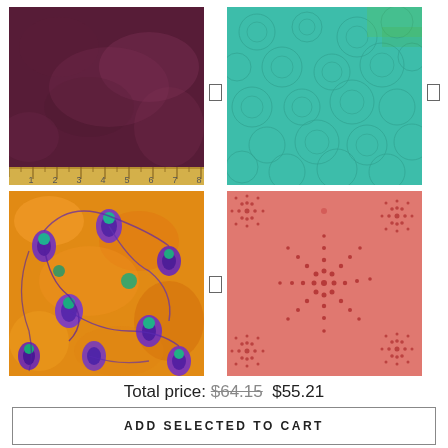[Figure (photo): Purple/maroon batik fabric swatch with ruler along the bottom showing inches 1-8]
[Figure (photo): Teal/turquoise mosaic pattern fabric swatch]
[Figure (photo): Orange and purple floral abstract batik fabric swatch]
[Figure (photo): Pink coral fabric with dark red radiating dotted sunburst/pinwheel pattern]
Total price: $64.15 $55.21
ADD SELECTED TO CART